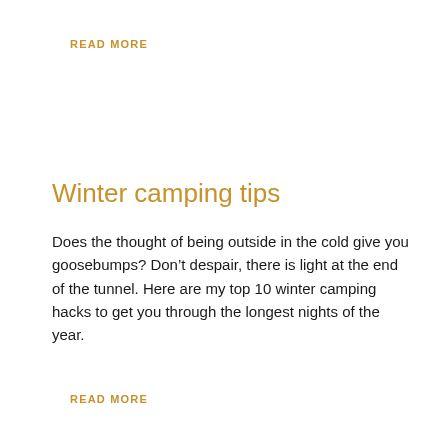READ MORE
Winter camping tips
Does the thought of being outside in the cold give you goosebumps? Don’t despair, there is light at the end of the tunnel. Here are my top 10 winter camping hacks to get you through the longest nights of the year.
READ MORE